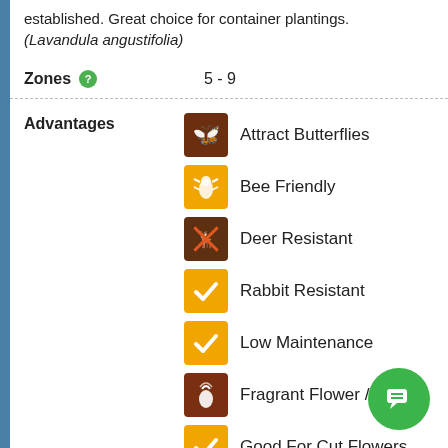established. Great choice for container plantings. (Lavandula angustifolia)
Zones 5 - 9
Advantages
Attract Butterflies
Bee Friendly
Deer Resistant
Rabbit Resistant
Low Maintenance
Fragrant Flower / Foliage
Good For Cut Flowers
Good For Dried Flowers
Good For Containers
Evergreen
Good Rockgarden Or...